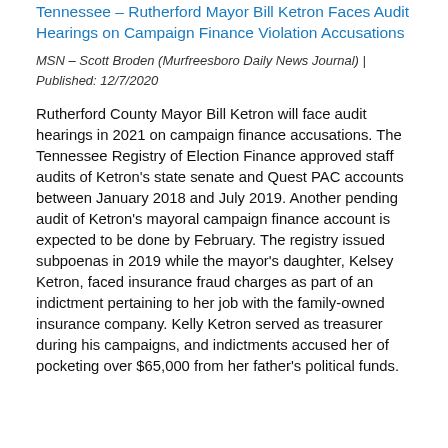Tennessee – Rutherford Mayor Bill Ketron Faces Audit Hearings on Campaign Finance Violation Accusations
MSN – Scott Broden (Murfreesboro Daily News Journal) | Published: 12/7/2020
Rutherford County Mayor Bill Ketron will face audit hearings in 2021 on campaign finance accusations. The Tennessee Registry of Election Finance approved staff audits of Ketron's state senate and Quest PAC accounts between January 2018 and July 2019. Another pending audit of Ketron's mayoral campaign finance account is expected to be done by February. The registry issued subpoenas in 2019 while the mayor's daughter, Kelsey Ketron, faced insurance fraud charges as part of an indictment pertaining to her job with the family-owned insurance company. Kelly Ketron served as treasurer during his campaigns, and indictments accused her of pocketing over $65,000 from her father's political funds.